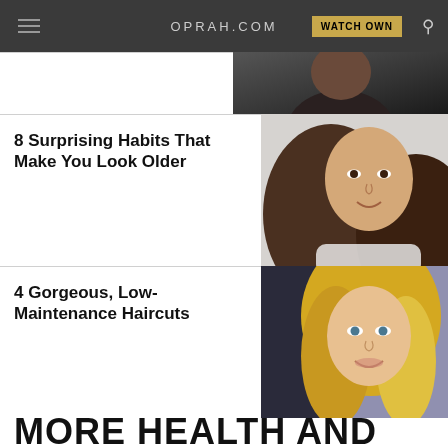OPRAH.COM
8 Surprising Habits That Make You Look Older
[Figure (photo): Woman with long hair smiling, looking younger/older habits article thumbnail]
4 Gorgeous, Low-Maintenance Haircuts
[Figure (photo): Blonde woman smiling, haircuts article thumbnail]
MORE HEALTH AND